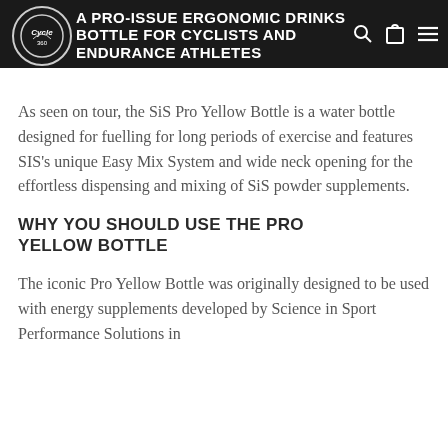A PRO-ISSUE ERGONOMIC DRINKS BOTTLE FOR CYCLISTS AND ENDURANCE ATHLETES
As seen on tour, the SiS Pro Yellow Bottle is a water bottle designed for fuelling for long periods of exercise and features SIS's unique Easy Mix System and wide neck opening for the effortless dispensing and mixing of SiS powder supplements.
WHY YOU SHOULD USE THE PRO YELLOW BOTTLE
The iconic Pro Yellow Bottle was originally designed to be used with energy supplements developed by Science in Sport Performance Solutions in